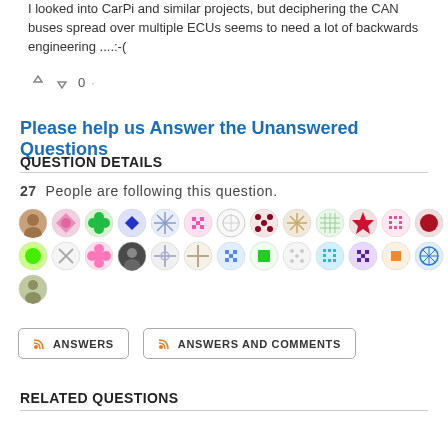I looked into CarPi and similar projects, but deciphering the CAN buses spread over multiple ECUs seems to need a lot of backwards engineering ....:-(
[Figure (other): Vote up/down icons with score 0]
Please help us Answer the Unanswered Questions
QUESTION DETAILS
27 People are following this question.
[Figure (other): Grid of 27 user avatar icons in two rows plus one additional avatar]
[Figure (other): RSS ANSWERS button and RSS ANSWERS AND COMMENTS button]
RELATED QUESTIONS